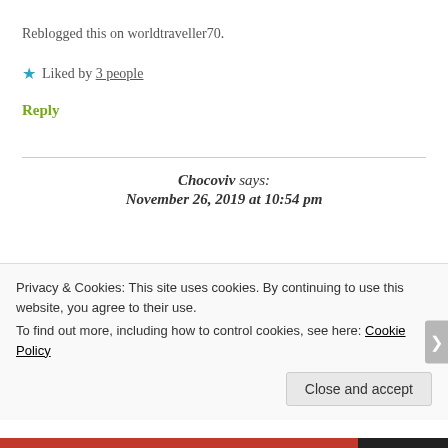Reblogged this on worldtraveller70.
★ Liked by 3 people
Reply
Chocoviv says:
November 26, 2019 at 10:54 pm
Privacy & Cookies: This site uses cookies. By continuing to use this website, you agree to their use.
To find out more, including how to control cookies, see here: Cookie Policy
Close and accept